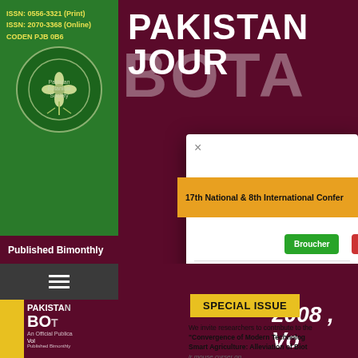ISSN: 0556-3321 (Print)
ISSN: 2070-3368 (Online)
CODEN PJB 0B6
PAKISTAN JOURNAL OF BOTANY
Published Bimonthly
17th National & 8th International Conference
Broucher
Registration F
SPECIAL ISSUE
2008, Vol
We invite researchers to contribute to the
"Convergence of Modern Technologies
Smart Agriculture: Alleviation of Biotic
Stresses" which is intended to cover broad modern technologies (artificial in
ir mouse curser on
PAKISTAN
BOT
An Official Publica
Vol
Published Bimonthly